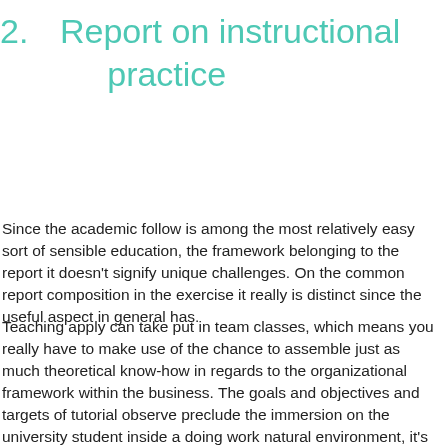2.    Report on instructional practice
Since the academic follow is among the most relatively easy sort of sensible education, the framework belonging to the report it doesn't signify unique challenges. On the common report composition in the exercise it really is distinct since the useful aspect in general has.
Teaching apply can take put in team classes, which means you really have to make use of the chance to assemble just as much theoretical know-how in regards to the organizational framework within the business. The goals and objectives and targets of tutorial observe preclude the immersion on the university student inside a doing work natural environment, it's important to not forget about when creating the introduction and conclusions.